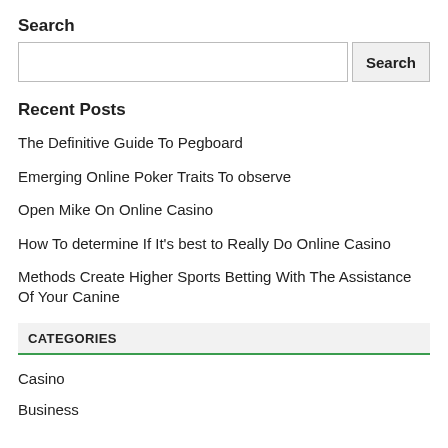Search
[Search input field and Search button]
Recent Posts
The Definitive Guide To Pegboard
Emerging Online Poker Traits To observe
Open Mike On Online Casino
How To determine If It's best to Really Do Online Casino
Methods Create Higher Sports Betting With The Assistance Of Your Canine
CATEGORIES
Casino
Business